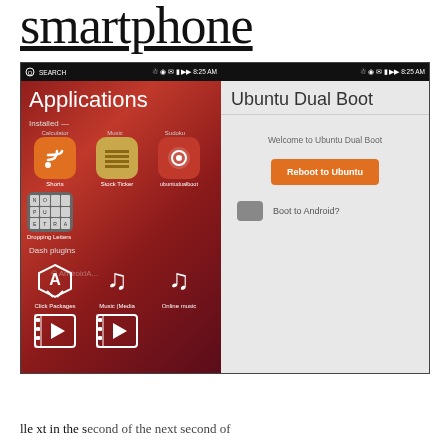smartphone
[Figure (screenshot): Two Android/Ubuntu smartphone screenshots side by side. Left: Ubuntu app launcher showing Applications screen with installed apps (Shorts RSS, Stock Ticker, ubuntudualboot, Dropping Letters) and Dash plugins (Click Packages, Music (Media, Online music, and video players). Right: Ubuntu Dual Boot app showing 'Welcome to Ubuntu Dual Boot' with 'Reboot to Ubuntu' orange button and 'Boot to Android?' toggle.]
lle xt in the second of the second second of